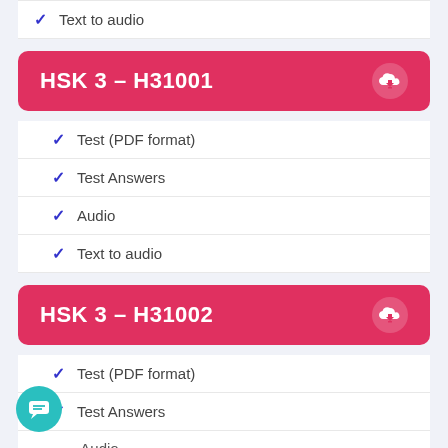Text to audio
[Figure (other): Pink/red rounded button labeled HSK 3 – H31001 with a cloud download icon]
Test (PDF format)
Test Answers
Audio
Text to audio
[Figure (other): Pink/red rounded button labeled HSK 3 – H31002 with a cloud download icon]
Test (PDF format)
Test Answers
Audio
Text to audio